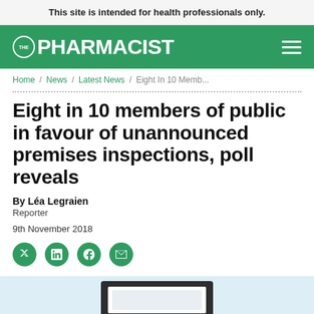This site is intended for health professionals only.
[Figure (logo): The Pharmacist logo — white text on green background with hamburger menu icon]
Home / News / Latest News / Eight In 10 Memb...
Eight in 10 members of public in favour of unannounced premises inspections, poll reveals
By Léa Legraien
Reporter
9th November 2018
[Figure (illustration): Illustration of a computer monitor/screen on a light blue background, partially visible at the bottom of the page]